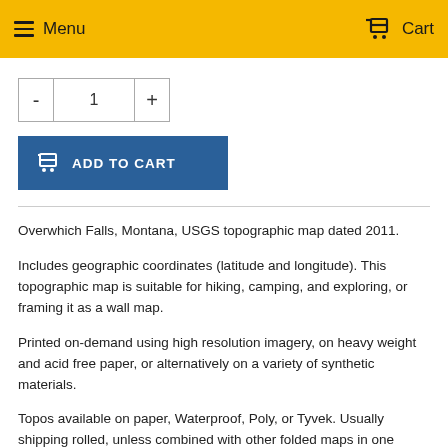Menu  Cart
[Figure (other): Quantity selector with minus button, input showing 1, and plus button]
[Figure (other): Add to Cart button with shopping cart icon]
Overwhich Falls, Montana, USGS topographic map dated 2011.
Includes geographic coordinates (latitude and longitude). This topographic map is suitable for hiking, camping, and exploring, or framing it as a wall map.
Printed on-demand using high resolution imagery, on heavy weight and acid free paper, or alternatively on a variety of synthetic materials.
Topos available on paper, Waterproof, Poly, or Tyvek. Usually shipping rolled, unless combined with other folded maps in one order.